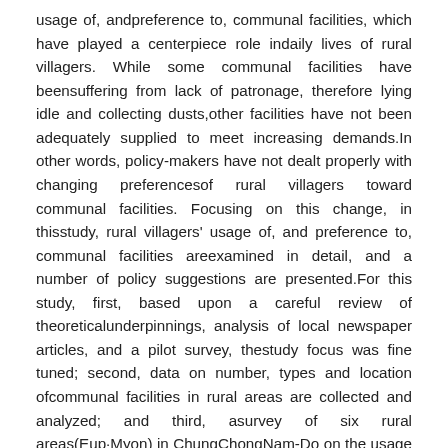usage of, andpreference to, communal facilities, which have played a centerpiece role indaily lives of rural villagers. While some communal facilities have beensuffering from lack of patronage, therefore lying idle and collecting dusts,other facilities have not been adequately supplied to meet increasing demands.In other words, policy-makers have not dealt properly with changing preferencesof rural villagers toward communal facilities. Focusing on this change, in thisstudy, rural villagers' usage of, and preference to, communal facilities areexamined in detail, and a number of policy suggestions are presented.For this study, first, based upon a careful review of theoreticalunderpinnings, analysis of local newspaper articles, and a pilot survey, thestudy focus was fine tuned; second, data on number, types and location ofcommunal facilities in rural areas are collected and analyzed; and third, asurvey of six rural areas(Eup·Myon) in ChungChongNam-Do on the usage of communalfacilities and a questionnaire survey of one hundred sixty villagers are carriedout, and data collected from these surveys are analyzed.While most frequently utilized facilities are community centers invillages, however, most of community centers in county 'Eup' and 'Myon' arefound to be under-utilized